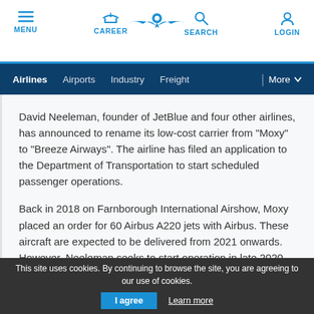MENU | CAREER | [logo] | SEARCH | LOGIN
Airlines  Airports  Industry  Freight  | More
David Neeleman, founder of JetBlue and four other airlines, has announced to rename its low-cost carrier from "Moxy" to "Breeze Airways". The airline has filed an application to the Department of Transportation to start scheduled passenger operations.
Back in 2018 on Farnborough International Airshow, Moxy placed an order for 60 Airbus A220 jets with Airbus. These aircraft are expected to be delivered from 2021 onwards. However, Neeleman seeks to start operation in late 2020 with used Embraer 190 aircraft
This site uses cookies. By continuing to browse the site, you are agreeing to our use of cookies.  I agree  Learn more